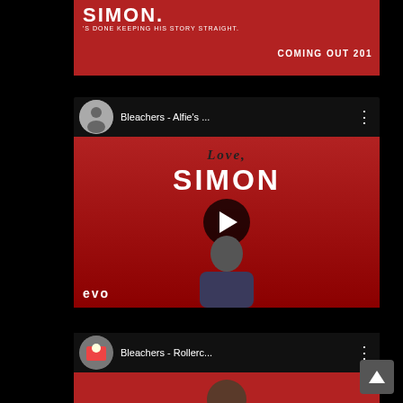[Figure (screenshot): Partial YouTube video card showing Love Simon movie promo with red background, white text 'COMING OUT 201' visible, tagline partially visible]
[Figure (screenshot): YouTube video card for 'Bleachers - Alfie's ...' with circular avatar, Love Simon branding on red background, play button overlay, Vevo logo bottom left]
[Figure (screenshot): Partial YouTube video card for 'Bleachers - Rollerc...' with music playlist avatar icon, partially visible red background with person]